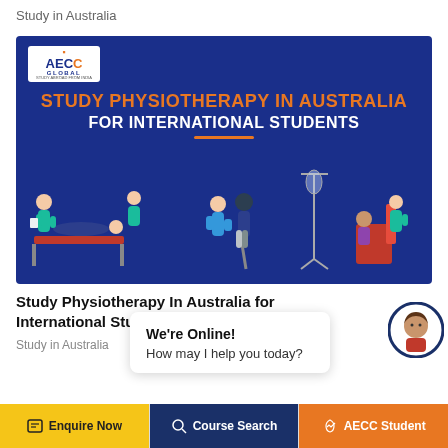Study in Australia
[Figure (illustration): AECC Global banner promoting Study Physiotherapy in Australia for International Students. Dark blue background with orange and white heading text. Illustrations of physiotherapy scenes: therapist treating patient on table, therapist assisting patient with cane, therapist treating seated patient.]
Study Physiotherapy In Australia for International Students
Study in Australia
We're Online!
How may I help you today?
Enquire Now | Course Search | AECC Student